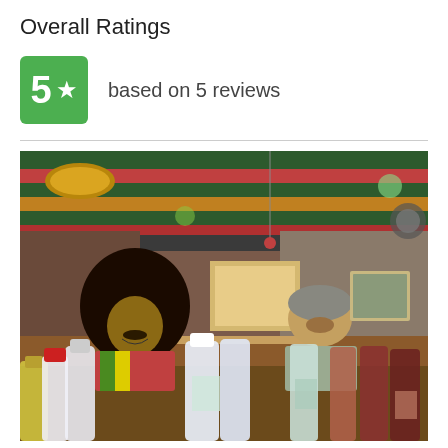Overall Ratings
5  based on 5 reviews
[Figure (photo): Photo of two men behind a bar counter with many liquor bottles in the foreground. The bar has colorful striped ceiling beams and warm lighting. One man has a large afro and colorful shirt, the other is older with a beard and gray shirt.]